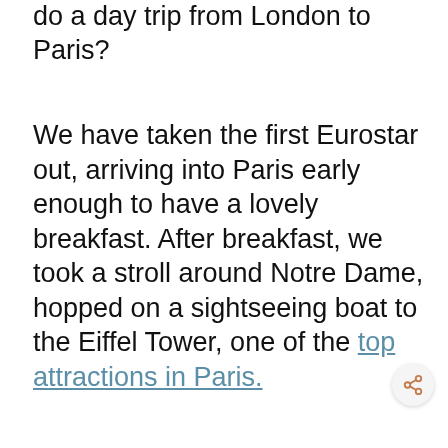do a day trip from London to Paris?
We have taken the first Eurostar out, arriving into Paris early enough to have a lovely breakfast. After breakfast, we took a stroll around Notre Dame, hopped on a sightseeing boat to the Eiffel Tower, one of the top attractions in Paris.